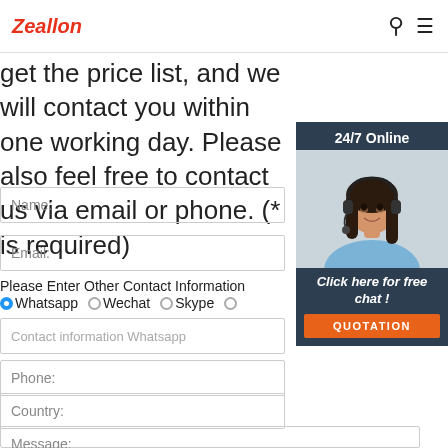Zeallon
get the price list, and we will contact you within one working day. Please also feel free to contact us via email or phone. (* is required)
Name:
Email:
Please Enter Other Contact Information
Whatsapp  Wechat  Skype
Contact information Whatsapp
Phone:
Country:
Message:
[Figure (illustration): Chat widget overlay with '24/7 Online' label, woman with headset image, 'Click here for free chat!' text, and QUOTATION orange button]